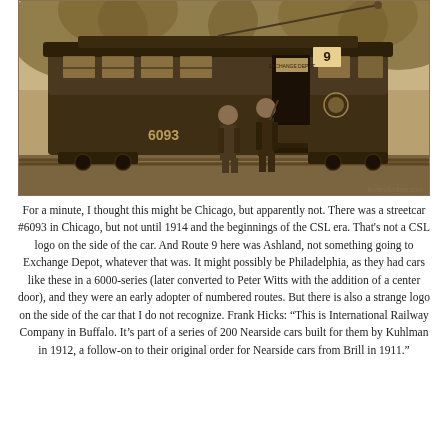[Figure (photo): Sepia-toned historical photograph of a streetcar numbered 6093 with the number 9 displayed on the front. Two men in period attire stand beside the open door of the streetcar. Trees are visible in the background. A watermark reads 'trolleydodger.com' in the lower right corner.]
For a minute, I thought this might be Chicago, but apparently not. There was a streetcar #6093 in Chicago, but not until 1914 and the beginnings of the CSL era. That's not a CSL logo on the side of the car. And Route 9 here was Ashland, not something going to Exchange Depot, whatever that was. It might possibly be Philadelphia, as they had cars like these in a 6000-series (later converted to Peter Witts with the addition of a center door), and they were an early adopter of numbered routes. But there is also a strange logo on the side of the car that I do not recognize. Frank Hicks: “This is International Railway Company in Buffalo. It’s part of a series of 200 Nearside cars built for them by Kuhlman in 1912, a follow-on to their original order for Nearside cars from Brill in 1911.”